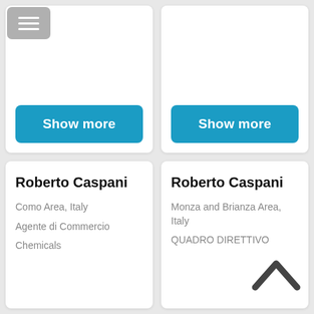[Figure (screenshot): Hamburger menu icon button, gray background, three white horizontal lines]
Show more
Show more
Roberto Caspani
Como Area, Italy
Agente di Commercio
Chemicals
Roberto Caspani
Monza and Brianza Area, Italy
QUADRO DIRETTIVO
[Figure (illustration): Up chevron / caret icon, dark gray, indicating scroll to top]